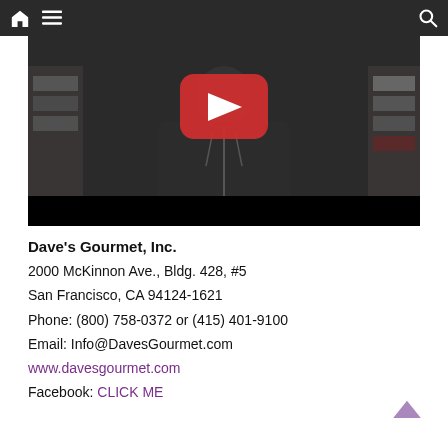Navigation bar with home, menu, and search icons
[Figure (screenshot): Video thumbnail showing a person wearing a dark hoodie inside a store, with a YouTube play button overlay in the center]
Dave's Gourmet, Inc.
2000 McKinnon Ave., Bldg. 428, #5
San Francisco, CA 94124-1621
Phone: (800) 758-0372 or (415) 401-9100
Email: Info@DavesGourmet.com
www.davesgourmet.com
Facebook: CLICK ME